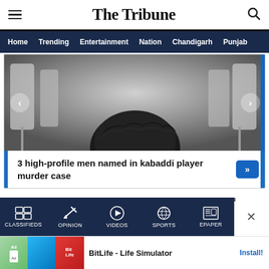The Tribune
Home  Trending  Entertainment  Nation  Chandigarh  Punjab
[Figure (photo): Person seen from behind with dark curly hair, seated among white chairs or seats, viewed from behind]
3 high-profile men named in kabaddi player murder case
[Figure (screenshot): Bottom navigation bar with icons: Classifieds, Opinion, Videos, Sports, Epaper on dark navy background]
[Figure (screenshot): Advertisement banner for BitLife - Life Simulator app with Install button]